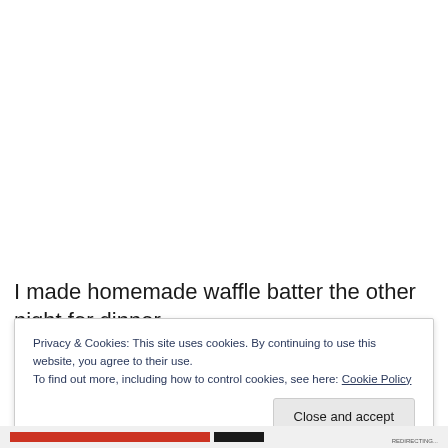I made homemade waffle batter the other night for dinner.
Privacy & Cookies: This site uses cookies. By continuing to use this website, you agree to their use.
To find out more, including how to control cookies, see here: Cookie Policy